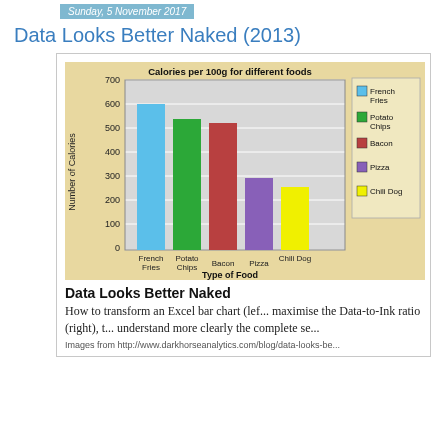Sunday, 5 November 2017
Data Looks Better Naked (2013)
[Figure (bar-chart): Calories per 100g for different foods]
Data Looks Better Naked
How to transform an Excel bar chart (left) to maximise the Data-to-Ink ratio (right), to understand more clearly the complete se...
Images from http://www.darkhorseanalytics.com/blog/data-looks-be...